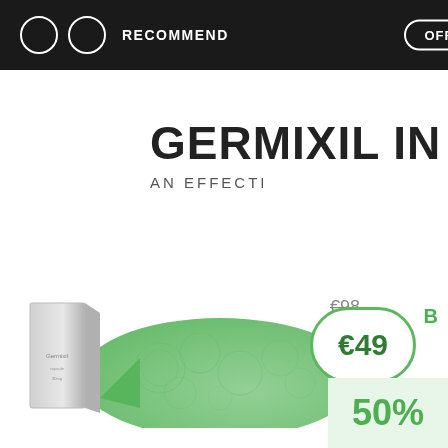RECOMMEND  OFFI
GERMIXIL IN
AN EFFECTI
[Figure (photo): Product box packaging image on left side, green ornamental swirl background element, price badge showing €49 with crossed out €98 old price]
€98
€49
B
50%